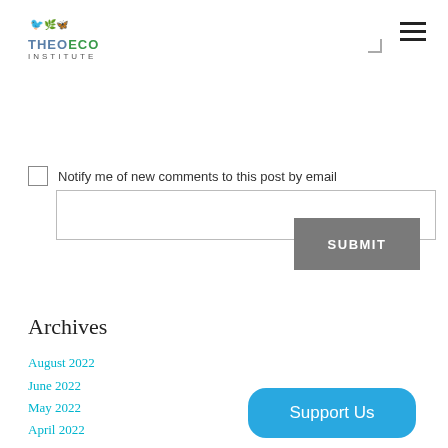THEOECO INSTITUTE
[Figure (screenshot): Textarea input box for comment form]
Notify me of new comments to this post by email
SUBMIT
Archives
August 2022
June 2022
May 2022
April 2022
March 2022
December 2021
November 2021
October 2021
Support Us